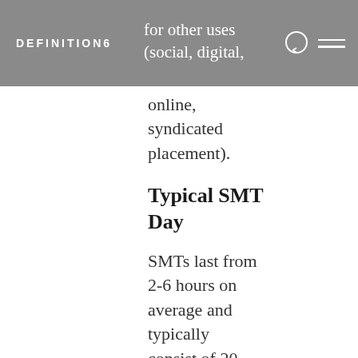DEFINITION6
for other uses (social, digital, online, syndicated placement).
Typical SMT Day
SMTs last from 2-6 hours on average and typically consist of 20-30 interviews with TV, Radio, and online stations. Many times, the